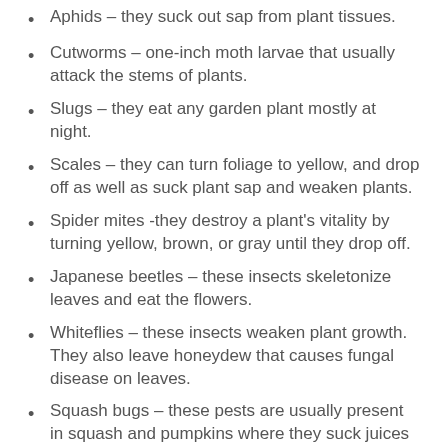Aphids – they suck out sap from plant tissues.
Cutworms – one-inch moth larvae that usually attack the stems of plants.
Slugs – they eat any garden plant mostly at night.
Scales – they can turn foliage to yellow, and drop off as well as suck plant sap and weaken plants.
Spider mites -they destroy a plant's vitality by turning yellow, brown, or gray until they drop off.
Japanese beetles – these insects skeletonize leaves and eat the flowers.
Whiteflies – these insects weaken plant growth. They also leave honeydew that causes fungal disease on leaves.
Squash bugs – these pests are usually present in squash and pumpkins where they suck juices and wilt plants.